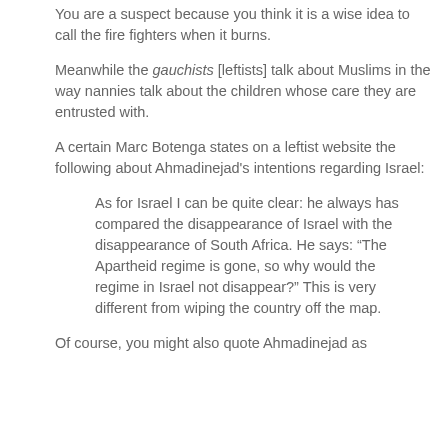You are a suspect because you think it is a wise idea to call the fire fighters when it burns.
Meanwhile the gauchists [leftists] talk about Muslims in the way nannies talk about the children whose care they are entrusted with.
A certain Marc Botenga states on a leftist website the following about Ahmadinejad’s intentions regarding Israel:
As for Israel I can be quite clear: he always has compared the disappearance of Israel with the disappearance of South Africa. He says: “The Apartheid regime is gone, so why would the regime in Israel not disappear?” This is very different from wiping the country off the map.
Of course, you might also quote Ahmadinejad as